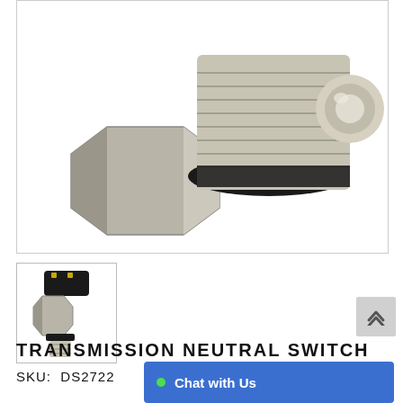[Figure (photo): Close-up photo of a transmission neutral switch showing metal threaded body and hexagonal base against white background]
[Figure (photo): Thumbnail image of transmission neutral switch showing full unit with black plastic top, metal body and threaded end]
TRANSMISSION NEUTRAL SWITCH
SKU:  DS27220
Chat with Us